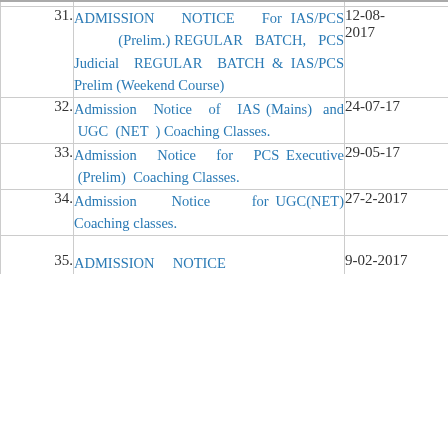| No. | Title | Date |
| --- | --- | --- |
| 31. | ADMISSION NOTICE For IAS/PCS (Prelim.) REGULAR BATCH, PCS Judicial REGULAR BATCH & IAS/PCS Prelim (Weekend Course) | 12-08-2017 |
| 32. | Admission Notice of IAS (Mains) and UGC (NET ) Coaching Classes. | 24-07-17 |
| 33. | Admission Notice for PCS Executive (Prelim) Coaching Classes. | 29-05-17 |
| 34. | Admission Notice for UGC(NET) Coaching classes. | 27-2-2017 |
| 35. | ADMISSION NOTICE | 9-02-2017 |